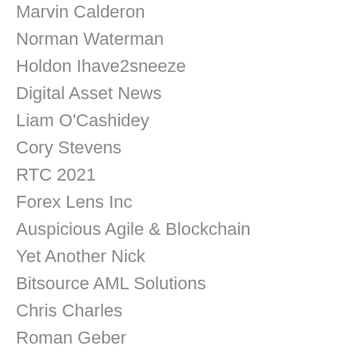Marvin Calderon
Norman Waterman
Holdon Ihave2sneeze
Digital Asset News
Liam O'Cashidey
Cory Stevens
RTC 2021
Forex Lens Inc
Auspicious Agile & Blockchain
Yet Another Nick
Bitsource AML Solutions
Chris Charles
Roman Geber
David Chosrova
Stuart Niven